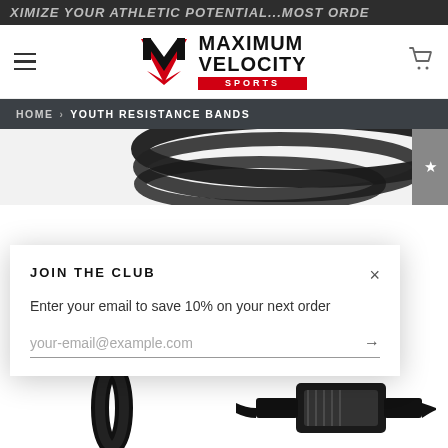XIMIZE YOUR ATHLETIC POTENTIAL...MOST ORDE
[Figure (logo): Maximum Velocity Sports logo with M shield and red SPORTS bar]
HOME › YOUTH RESISTANCE BANDS
[Figure (photo): Top portion of black resistance bands on white background]
JOIN THE CLUB
Enter your email to save 10% on your next order
your-email@example.com
[Figure (photo): Bottom product photo showing black resistance bands and clips]